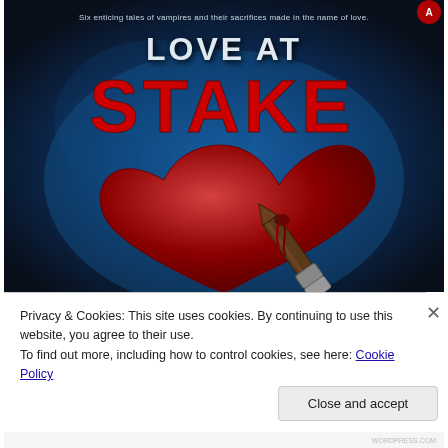[Figure (illustration): Book cover for 'Love at Stake' — dark blue background with a large red heart pierced by a wooden stake, dripping blood. Title text 'LOVE AT STAKE' in white and red distressed lettering. Tagline: 'Six enticing tales of vampires and their sacrifices made in the name of love.']
Privacy & Cookies: This site uses cookies. By continuing to use this website, you agree to their use.
To find out more, including how to control cookies, see here: Cookie Policy
Close and accept